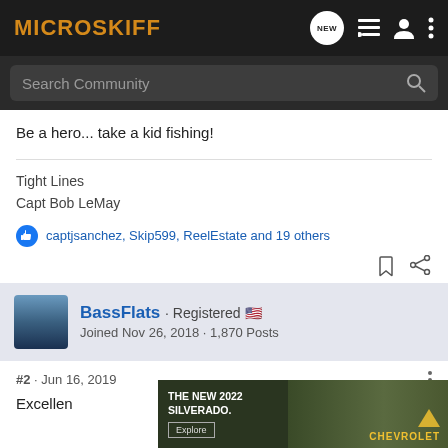MICROSKIFF
Search Community
Be a hero... take a kid fishing!
Tight Lines
Capt Bob LeMay
captjsanchez, Skip599, ReelEstate and 19 others
BassFlats · Registered
Joined Nov 26, 2018 · 1,870 Posts
#2 · Jun 16, 2019
Excellen